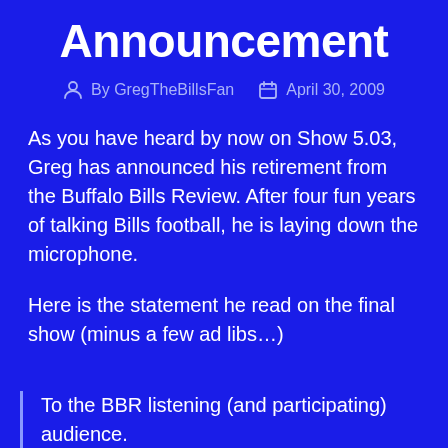Announcement
By GregTheBillsFan   April 30, 2009
As you have heard by now on Show 5.03, Greg has announced his retirement from the Buffalo Bills Review. After four fun years of talking Bills football, he is laying down the microphone.
Here is the statement he read on the final show (minus a few ad libs…)
To the BBR listening (and participating) audience.
In August of 2005 I had a fun idea, pitched it to my brother in law (Uncle Josh, for those who have been